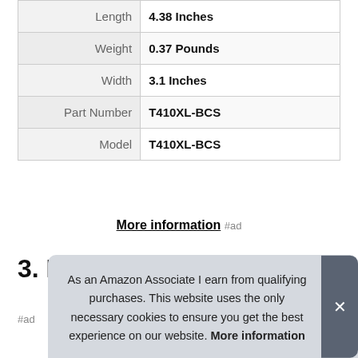| Attribute | Value |
| --- | --- |
| Length | 4.38 Inches |
| Weight | 0.37 Pounds |
| Width | 3.1 Inches |
| Part Number | T410XL-BCS |
| Model | T410XL-BCS |
More information #ad
3. Epson
#ad
As an Amazon Associate I earn from qualifying purchases. This website uses the only necessary cookies to ensure you get the best experience on our website. More information